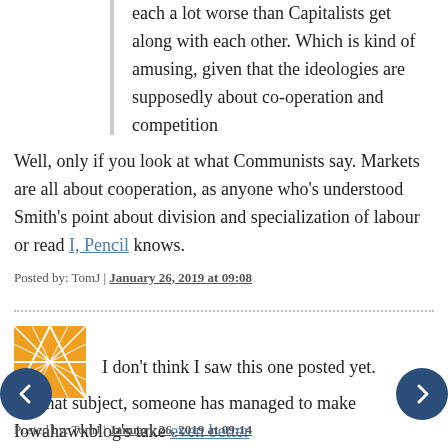each a lot worse than Capitalists get along with each other. Which is kind of amusing, given that the ideologies are supposedly about co-operation and competition
Well, only if you look at what Communists say. Markets are all about cooperation, as anyone who's understood Smith's point about division and specialization of labour or read I, Pencil knows.
Posted by: TomJ | January 26, 2019 at 09:08
[Figure (illustration): Orange geometric avatar/logo image with white line pattern]
I don't think I saw this one posted yet.
On that subject, someone has managed to make Iowahawkblog's take even better
Posted by: TomJ | January 26, 2019 at 09:14